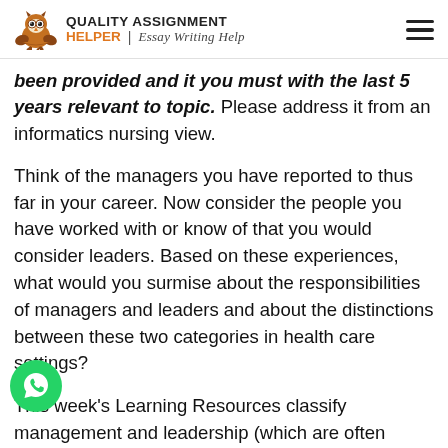QUALITY ASSIGNMENT HELPER | Essay Writing Help
been provided and it you must with the last 5 years relevant to topic. Please address it from an informatics nursing view.
Think of the managers you have reported to thus far in your career. Now consider the people you have worked with or know of that you would consider leaders. Based on these experiences, what would you surmise about the responsibilities of managers and leaders and about the distinctions between these two categories in health care settings?
This week's Learning Resources classify management and leadership (which are often confused in everyday conversation) and explain their significance for health care organizations. As you advance professionally, it is critical to understand the distinctions between management...